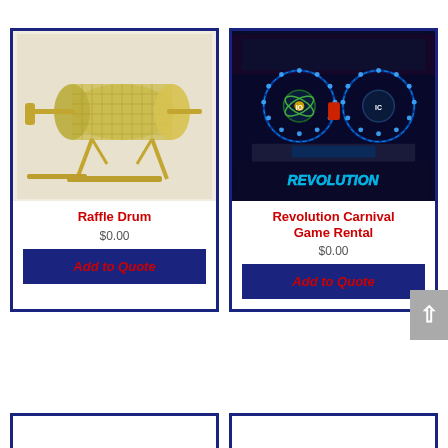[Figure (photo): Raffle Drum product card with gold wire mesh drum on stand, dark navy border]
Raffle Drum
$0.00
Add to Quote
[Figure (photo): Revolution Carnival Game Rental product card with illuminated arcade machine showing two spinning blue LED rings on dark background with Revolution branding]
Revolution Carnival Game Rental
$0.00
Add to Quote